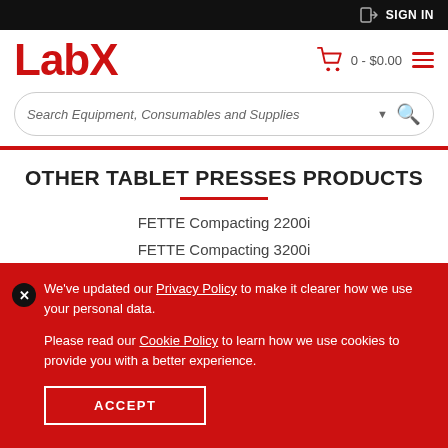SIGN IN
[Figure (logo): LabX logo in red with cart icon showing 0 - $0.00 and hamburger menu]
Search Equipment, Consumables and Supplies
OTHER TABLET PRESSES PRODUCTS
FETTE Compacting 2200i
FETTE Compacting 3200i
We've updated our Privacy Policy to make it clearer how we use your personal data.

Please read our Cookie Policy to learn how we use cookies to provide you with a better experience.
ACCEPT